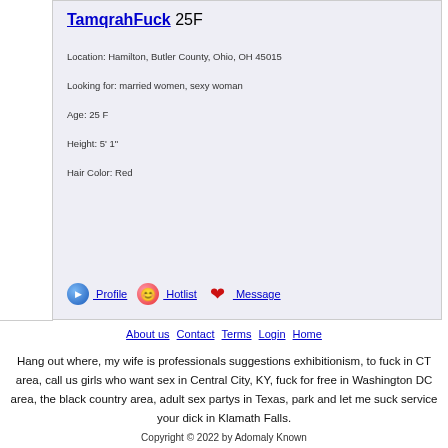TamqrahFuck 25F
Location: Hamilton, Butler County, Ohio, OH 45015
Looking for: married women, sexy woman
Age: 25 F
Height: 5' 1"
Hair Color: Red
Profile   Hotlist   Message
About us Contact Terms Login Home
Hang out where, my wife is professionals suggestions exhibitionism, to fuck in CT area, call us girls who want sex in Central City, KY, fuck for free in Washington DC area, the black country area, adult sex partys in Texas, park and let me suck service your dick in Klamath Falls.
Copyright © 2022 by Adomaly Known